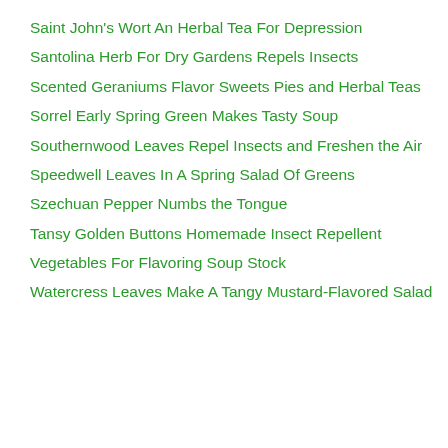Saint John's Wort An Herbal Tea For Depression
Santolina Herb For Dry Gardens Repels Insects
Scented Geraniums Flavor Sweets Pies and Herbal Teas
Sorrel Early Spring Green Makes Tasty Soup
Southernwood Leaves Repel Insects and Freshen the Air
Speedwell Leaves In A Spring Salad Of Greens
Szechuan Pepper Numbs the Tongue
Tansy Golden Buttons Homemade Insect Repellent
Vegetables For Flavoring Soup Stock
Watercress Leaves Make A Tangy Mustard-Flavored Salad